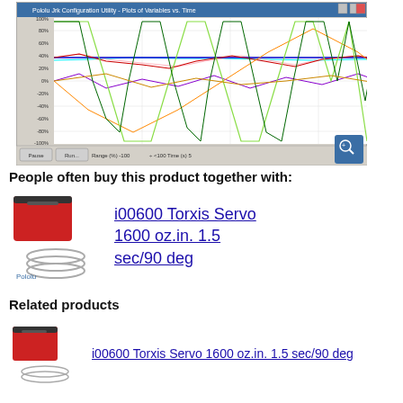[Figure (screenshot): Pololu Jrk Configuration Utility - Plots of Variables vs. Time. Shows multiple colored waveforms (Input, Target, Feedback, Scaled Feedback, Error, Integral, Duty cycle target, Duty cycle, Current) plotted over time from -5000 to 0 ms, with y-axis from -100% to 100%. Legend on right side. A blue zoom icon is in the bottom-right corner of the screenshot.]
People often buy this product together with:
[Figure (photo): Photo of i00600 Torxis Servo, a red box-shaped servo motor with silver mounting rings and Pololu branding label.]
i00600 Torxis Servo 1600 oz.in. 1.5 sec/90 deg
Related products
[Figure (photo): Smaller thumbnail photo of i00600 Torxis Servo, red box-shaped servo motor.]
i00600 Torxis Servo 1600 oz.in. 1.5 sec/90 deg